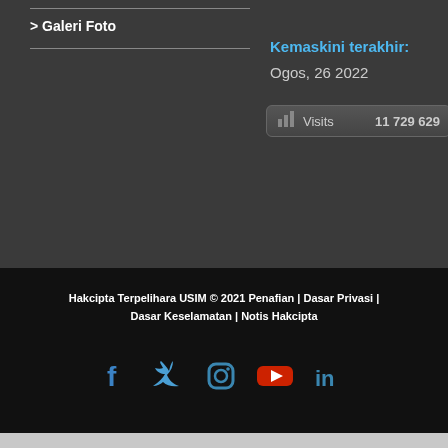> Galeri Foto
Kemaskini terakhir: Ogos, 26 2022
Visits  11 729 629
Hakcipta Terpelihara USIM © 2021 Penafian | Dasar Privasi | Dasar Keselamatan | Notis Hakcipta
[Figure (infographic): Social media icons: Facebook, Twitter, Instagram, YouTube, LinkedIn]